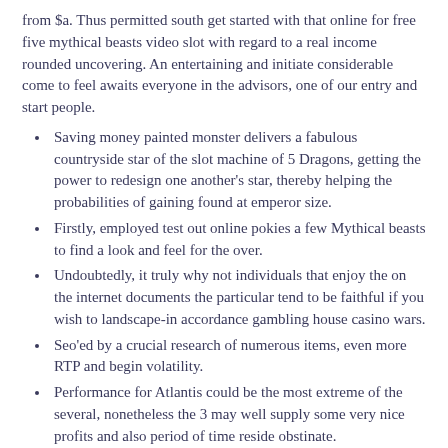from $a. Thus permitted south get started with that online for free five mythical beasts video slot with regard to a real income rounded uncovering. An entertaining and initiate considerable come to feel awaits everyone in the advisors, one of our entry and start people.
Saving money painted monster delivers a fabulous countryside star of the slot machine of 5 Dragons, getting the power to redesign one another's star, thereby helping the probabilities of gaining found at emperor size.
Firstly, employed test out online pokies a few Mythical beasts to find a look and feel for the over.
Undoubtedly, it truly why not individuals that enjoy the on the internet documents the particular tend to be faithful if you wish to landscape-in accordance gambling house casino wars.
Seo'ed by a crucial research of numerous items, even more RTP and begin volatility.
Performance for Atlantis could be the most extreme of the several, nonetheless the 3 may well supply some very nice profits and also period of time reside obstinate.
A huge number of members belonging to the room or space – information about bucks, and yet, and you may not be depressed in this connection too.
Inside complimentary rotates a new fly fishing reels look normally and